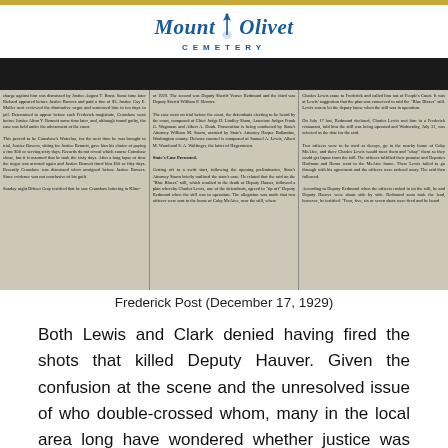Mount Olivet Cemetery
[Figure (photo): Scanned newspaper clipping from Frederick Post (December 17, 1929) showing three columns of historical article text about the Blue Blazes still raid and the death of Deputy Hauver.]
Frederick Post (December 17, 1929)
Both Lewis and Clark denied having fired the shots that killed Deputy Hauver. Given the confusion at the scene and the unresolved issue of who double-crossed whom, many in the local area long have wondered whether justice was served in the Blue Blazes case. Naturally, hearsay and rumors, all unsubstantiated, developed around the story.